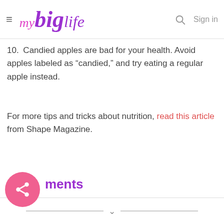my big life — Sign in
10. Candied apples are bad for your health. Avoid apples labeled as “candied,” and try eating a regular apple instead.
For more tips and tricks about nutrition, read this article from Shape Magazine.
Comments